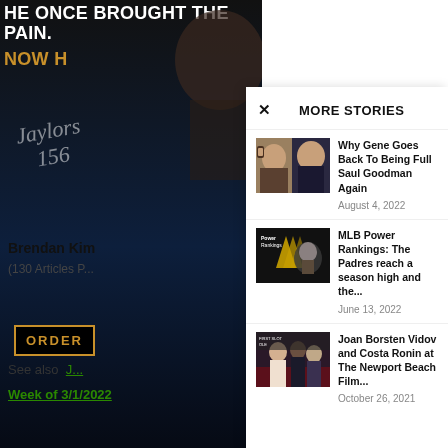[Figure (photo): Advertisement background with text: HE ONCE BROUGHT THE PAIN. NOW H... with ORDER button, dark blue background]
Brendan Kim
(130 Articles P...
See also  J...
Week of 3/1/2022
× MORE STORIES
Why Gene Goes Back To Being Full Saul Goodman Again
August 4, 2022
MLB Power Rankings: The Padres reach a season high and the...
June 13, 2022
Joan Borsten Vidov and Costa Ronin at The Newport Beach Film...
October 26, 2021